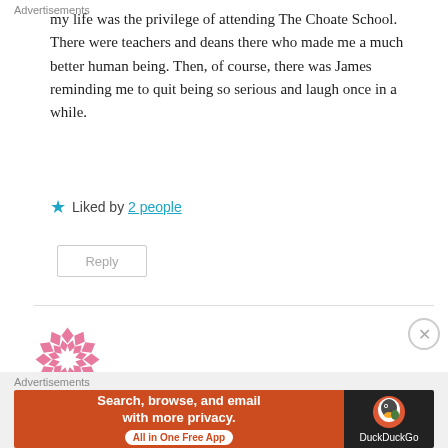my life was the privilege of attending The Choate School. There were teachers and deans there who made me a much better human being. Then, of course, there was James reminding me to quit being so serious and laugh once in a while.
★ Liked by 2 people
Reply
[Figure (illustration): Pink geometric circular avatar made of diamond/chevron shapes arranged in a ring pattern]
gem8941
Advertisements
[Figure (screenshot): DuckDuckGo advertisement banner: orange section with text 'Search, browse, and email with more privacy.' and 'All in One Free App', dark section with DuckDuckGo duck logo and brand name]